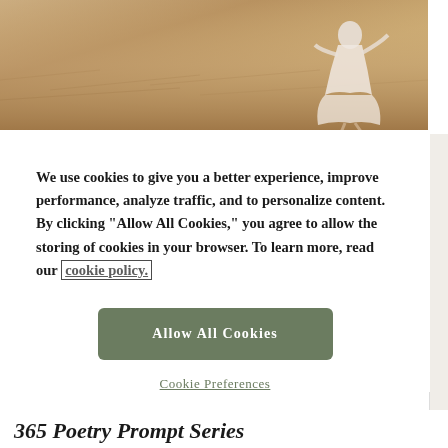[Figure (photo): Person in white dress running through a golden wheat/grain field, warm beige and tan tones]
We use cookies to give you a better experience, improve performance, analyze traffic, and to personalize content. By clicking "Allow All Cookies," you agree to allow the storing of cookies in your browser. To learn more, read our cookie policy.
Allow All Cookies
Cookie Preferences
365 Poetry Prompt Series